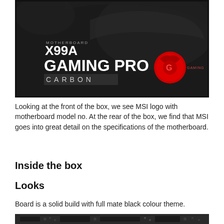[Figure (photo): Front of MSI X99A Gaming Pro Carbon motherboard box. Dark background with a supercar graphic. Text reads 'MOTHERBOARD X99A GAMING PRO CARBON' with the MSI Dragon Gaming logo in red on the right.]
Looking at the front of the box, we see MSI logo with motherboard model no. At the rear of the box, we find that MSI goes into great detail on the specifications of the motherboard.
Inside the box
Looks
Board is a solid build with full mate black colour theme.
[Figure (photo): Bottom portion of MSI X99A Gaming Pro Carbon motherboard shown against a dark background, showing PCB traces and components.]